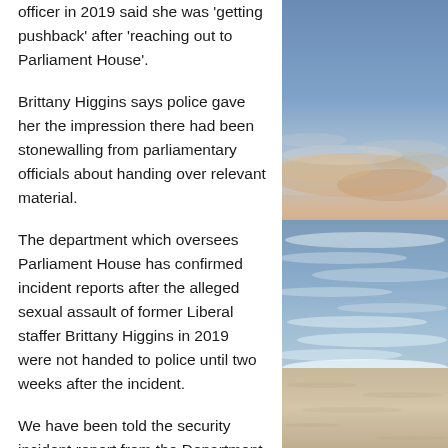officer in 2019 said she was 'getting pushback' after 'reaching out to Parliament House'.
Brittany Higgins says police gave her the impression there had been stonewalling from parliamentary officials about handing over relevant material.
The department which oversees Parliament House has confirmed incident reports after the alleged sexual assault of former Liberal staffer Brittany Higgins in 2019 were not handed to police until two weeks after the incident.
We have been told the security incident report from the Department of Parliamentary Services was withheld...
[Figure (photo): Coastal sunset scene showing ocean waves, sandy beach, and a sky with warm coloured clouds on the horizon]